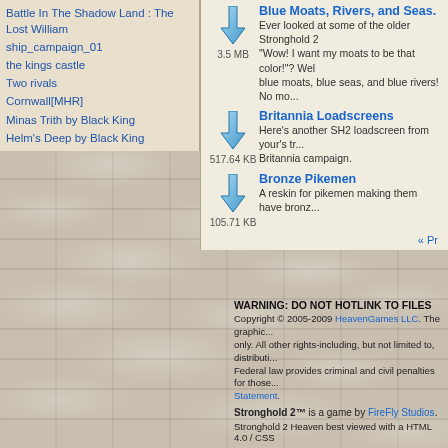Battle In The Shadow Land : The Lost William
ship_campaign_01
the kings castle
Two rivals
Cornwall[MHR]
Minas Trith by Black King
Helm's Deep by Black King
[Figure (screenshot): Download icon arrow - 3.5 MB]
Blue Moats, Rivers, and Seas. Ever looked at some of the older Stronghold 2 "Wow! I want my moats to be that color!"? Well blue moats, blue seas, and blue rivers! No mo...
[Figure (screenshot): Download icon arrow - 517.64 KB]
Britannia Loadscreens Here's another SH2 loadscreen from your's tr... Britannia campaign.
[Figure (screenshot): Download icon arrow - 105.71 KB]
Bronze Pikemen A reskin for pikemen making them have bronz...
« Pr
WARNING: DO NOT HOTLINK TO FILES Copyright © 2005-2009 HeavenGames LLC. The graphic... only. All other rights-including, but not limited to, distributi... Federal law provides criminal and civil penalties for those... Statement.
Stronghold 2™ is a game by FireFly Studios.
Stronghold 2 Heaven best viewed with a HTML 4.0 / CSS